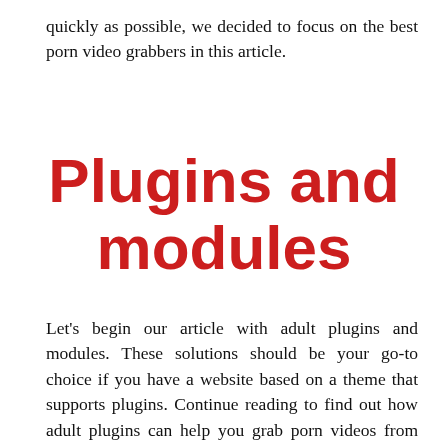quickly as possible, we decided to focus on the best porn video grabbers in this article.
Plugins and modules
Let's begin our article with adult plugins and modules. These solutions should be your go-to choice if you have a website based on a theme that supports plugins. Continue reading to find out how adult plugins can help you grab porn videos from popular porn sites.